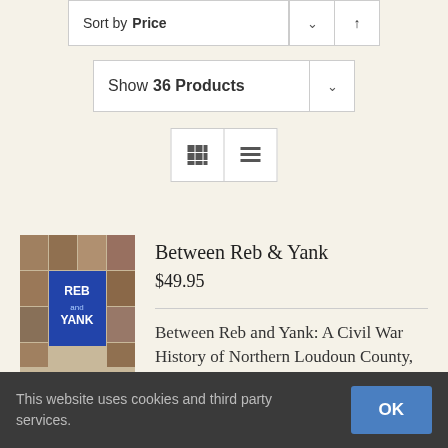Sort by Price
Show 36 Products
[Figure (screenshot): Grid and list view toggle buttons]
[Figure (illustration): Book cover for Between Reb & Yank showing historical photos]
Between Reb & Yank
$49.95
Between Reb and Yank: A Civil War History of Northern Loudoun County, Virginia
This website uses cookies and third party services.